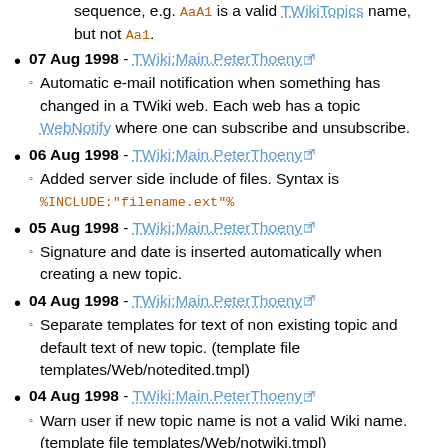sequence, e.g. AaA1 is a valid TWikiTopics name, but not Aa1.
07 Aug 1998 - TWiki:Main.PeterThoeny - Automatic e-mail notification when something has changed in a TWiki web. Each web has a topic WebNotify where one can subscribe and unsubscribe.
06 Aug 1998 - TWiki:Main.PeterThoeny - Added server side include of files. Syntax is %INCLUDE:"filename.ext"%
05 Aug 1998 - TWiki:Main.PeterThoeny - Signature and date is inserted automatically when creating a new topic.
04 Aug 1998 - TWiki:Main.PeterThoeny - Separate templates for text of non existing topic and default text of new topic. (template file templates/Web/notedited.tmpl)
04 Aug 1998 - TWiki:Main.PeterThoeny - Warn user if new topic name is not a valid Wiki name. (template file templates/Web/notwiki.tmpl)
31 Jul 1998 - TWiki:Main.PeterThoeny - Support for quoted text with a '>' at the beginning